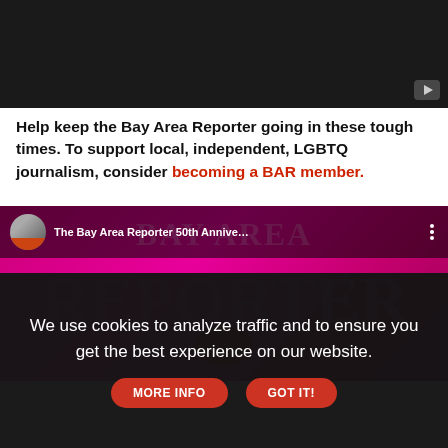[Figure (screenshot): Dark/black video player thumbnail with a small grey YouTube play button in the bottom-right corner]
Help keep the Bay Area Reporter going in these tough times. To support local, independent, LGBTQ journalism, consider becoming a BAR member.
[Figure (screenshot): YouTube video embed showing 'The Bay Area Reporter 50th Annive...' with a pink/magenta Bay Area Reporter banner background, channel avatar, title bar, and three-dot menu]
We use cookies to analyze traffic and to ensure you get the best experience on our website.